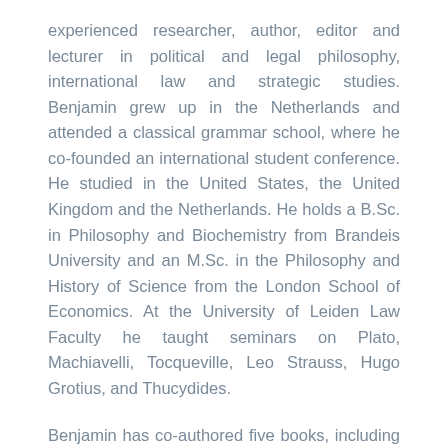experienced researcher, author, editor and lecturer in political and legal philosophy, international law and strategic studies. Benjamin grew up in the Netherlands and attended a classical grammar school, where he co-founded an international student conference. He studied in the United States, the United Kingdom and the Netherlands. He holds a B.Sc. in Philosophy and Biochemistry from Brandeis University and an M.Sc. in the Philosophy and History of Science from the London School of Economics. At the University of Leiden Law Faculty he taught seminars on Plato, Machiavelli, Tocqueville, Leo Strauss, Hugo Grotius, and Thucydides.
Benjamin has co-authored five books, including Breakthrough: from Innovation to Impact (2014,